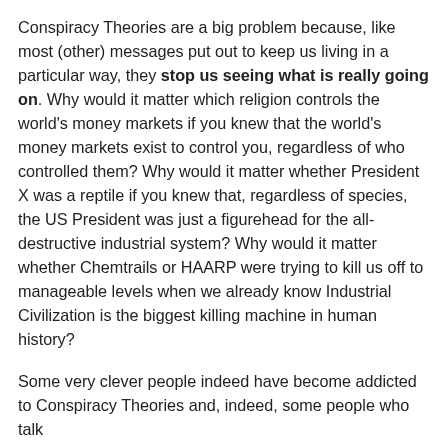Conspiracy Theories are a big problem because, like most (other) messages put out to keep us living in a particular way, they stop us seeing what is really going on. Why would it matter which religion controls the world's money markets if you knew that the world's money markets exist to control you, regardless of who controlled them? Why would it matter whether President X was a reptile if you knew that, regardless of species, the US President was just a figurehead for the all-destructive industrial system? Why would it matter whether Chemtrails or HAARP were trying to kill us off to manageable levels when we already know Industrial Civilization is the biggest killing machine in human history?
Some very clever people indeed have become addicted to Conspiracy Theories and, indeed, some people who talk